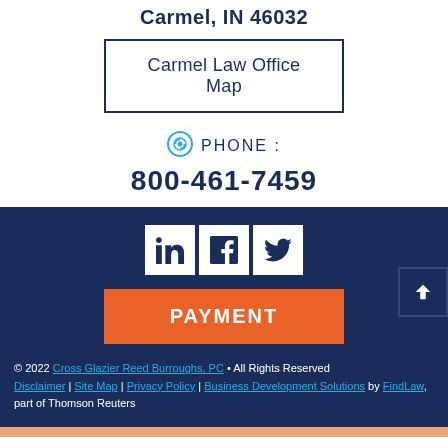Carmel, IN 46032
Carmel Law Office Map
PHONE : 800-461-7459
[Figure (other): Social media icons for LinkedIn, Facebook, and Twitter on dark navy background]
PAYMENT
© 2022 Cross Glazier Reed Burroughs, PC • All Rights Reserved Disclaimer | Site Map | Privacy Policy | Business Development Solutions by FindLaw, part of Thomson Reuters